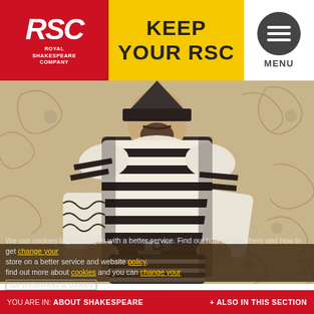[Figure (logo): RSC Royal Shakespeare Company red logo box with italic white RSC letters and white text 'ROYAL SHAKESPEARE COMPANY']
KEEP YOUR RSC
[Figure (illustration): Circular dark menu icon with three horizontal white lines (hamburger icon) and MENU label below]
[Figure (photo): Black and white/sepia photograph of a historical figure in ornate striped Renaissance-era armour with beard, set against a floral wallpaper background]
We use cookies to provide you with a better service. Find out how we use them and how to get cookies and you can change your preferences at cookies.
use preferences at cookies
YOU ARE IN: ABOUT SHAKESPEARE | + ALSO IN THIS SECTION